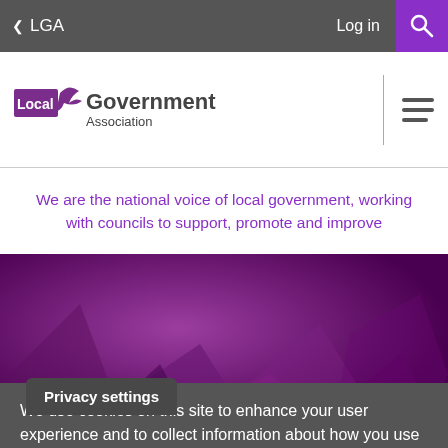< LGA  Log in [search icon]
[Figure (logo): Local Government Association logo with purple bird icon, text: Local Government Association]
We are the national voice of local government, working with councils to support, promote and improve
[Figure (photo): Purple geometric polygon abstract background hero image]
Privacy settings
We use cookies on this site to enhance your user experience and to collect information about how you use our website. We use this information to make the